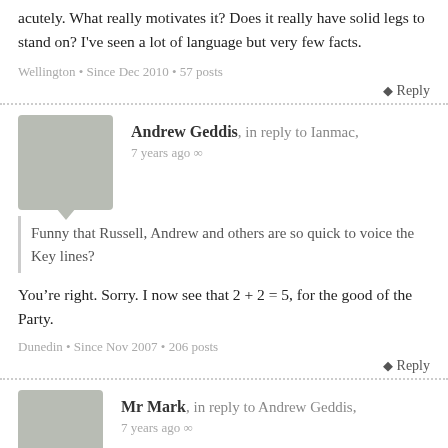acutely. What really motivates it? Does it really have solid legs to stand on? I've seen a lot of language but very few facts.
Wellington • Since Dec 2010 • 57 posts
Reply
Andrew Geddis, in reply to Ianmac, 7 years ago
Funny that Russell, Andrew and others are so quick to voice the Key lines?
You're right. Sorry. I now see that 2 + 2 = 5, for the good of the Party.
Dunedin • Since Nov 2007 • 206 posts
Reply
Mr Mark, in reply to Andrew Geddis, 7 years ago
That is precisely what I'm suggesting, big fella.